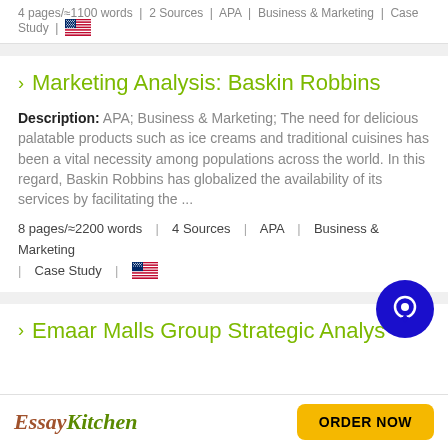4 pages/≈1100 words | 2 Sources | APA | Business & Marketing | Case Study | 🇺🇸
Marketing Analysis: Baskin Robbins
Description: APA; Business & Marketing; The need for delicious palatable products such as ice creams and traditional cuisines has been a vital necessity among populations across the world. In this regard, Baskin Robbins has globalized the availability of its services by facilitating the ...
8 pages/≈2200 words | 4 Sources | APA | Business & Marketing | Case Study | 🇺🇸
Emaar Malls Group Strategic Analysis
[Figure (logo): EssayKitchen logo with ORDER NOW button]
[Figure (other): Blue circular chat/support button icon]